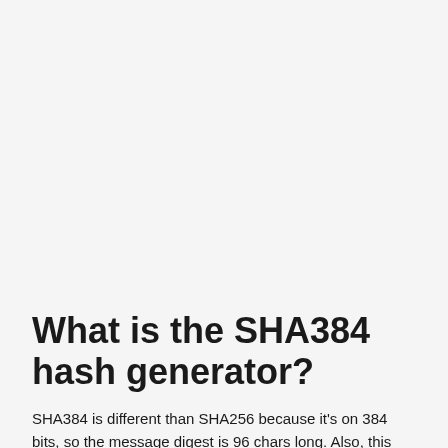What is the SHA384 hash generator?
SHA384 is different than SHA256 because it's on 384 bits, so the message digest is 96 chars long. Also, this mathematic function